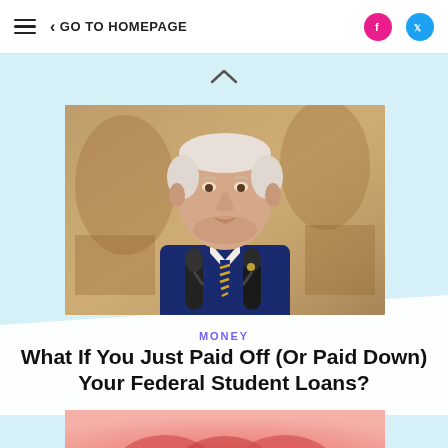≡ < GO TO HOMEPAGE
[Figure (photo): Photo of an older man in a navy suit with a yellow and blue striped tie, speaking at microphones, with a decorative mural background — appears to be President Biden at a White House setting.]
MONEY
What If You Just Paid Off (Or Paid Down) Your Federal Student Loans?
[Figure (photo): Bottom of a coral/pink colored image with a circular graphic element partially visible at the bottom of the page.]